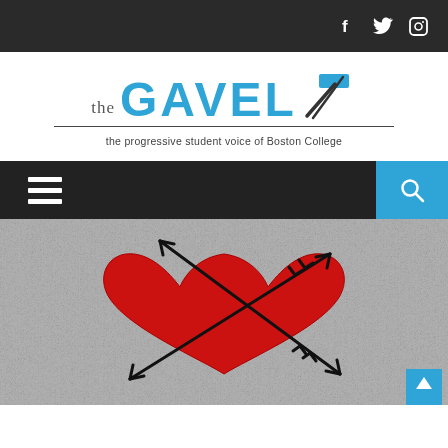The Gavel - top navigation bar with social icons (Facebook, Twitter, Instagram)
[Figure (logo): The Gavel logo - 'the GAVEL' with a gavel/hammer graphic in blue and dark colors, tagline: 'the progressive student voice of Boston College']
Navigation bar with hamburger menu and search button
[Figure (illustration): Illustration of a red heart pierced by two black crossed arrows on a gray textured background]